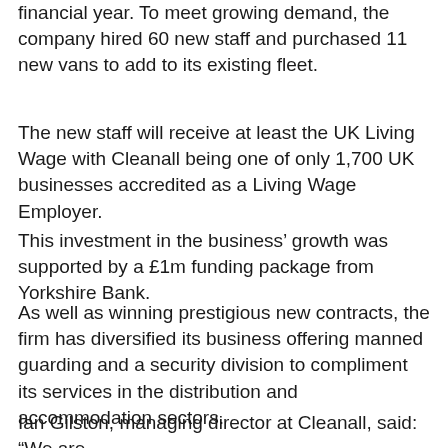financial year. To meet growing demand, the company hired 60 new staff and purchased 11 new vans to add to its existing fleet.
The new staff will receive at least the UK Living Wage with Cleanall being one of only 1,700 UK businesses accredited as a Living Wage Employer.
This investment in the business' growth was supported by a £1m funding package from Yorkshire Bank.
As well as winning prestigious new contracts, the firm has diversified its business offering manned guarding and a security division to compliment its services in the distribution and accommodation sectors.
Ian Gilston, managing director at Cleanall, said: “We are